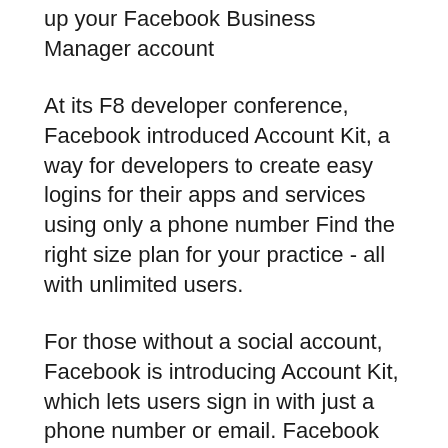up your Facebook Business Manager account
At its F8 developer conference, Facebook introduced Account Kit, a way for developers to create easy logins for their apps and services using only a phone number Find the right size plan for your practice - all with unlimited users.
For those without a social account, Facebook is introducing Account Kit, which lets users sign in with just a phone number or email. Facebook Account Kit and Firebase Authentication tutorial project - shepeliev/fb-account-kit-sample
Android Development Tutorial Drink Shop part 2 (Facebook. Facebook Account Kit SDK wrapper for React Native. Contribute to